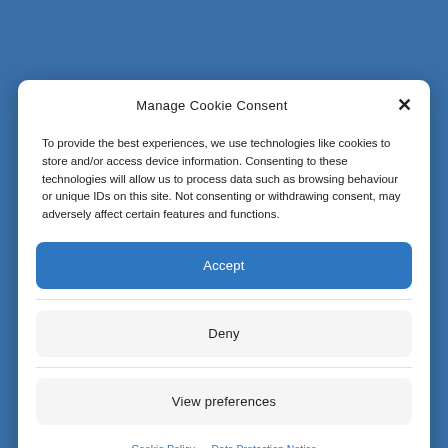Kent Museum of
Manage Cookie Consent
To provide the best experiences, we use technologies like cookies to store and/or access device information. Consenting to these technologies will allow us to process data such as browsing behaviour or unique IDs on this site. Not consenting or withdrawing consent, may adversely affect certain features and functions.
Accept
Deny
View preferences
Cookie Policy   Data Protection Notice